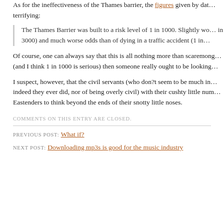As for the ineffectiveness of the Thames barrier, the figures given by d... terrifying:
The Thames Barrier was built to a risk level of 1 in 1000. Slightly wo... in 3000) and much worse odds than of dying in a traffic accident (1 in...
Of course, one can always say that this is all nothing more than scaremong... (and I think 1 in 1000 is serious) then someone really ought to be looking...
I suspect, however, that the civil servants (who don?t seem to be much in... indeed they ever did, nor of being overly civil) with their cushty little num... Eastenders to think beyond the ends of their snotty little noses.
COMMENTS ON THIS ENTRY ARE CLOSED.
PREVIOUS POST: What if?
NEXT POST: Downloading mp3s is good for the music industry